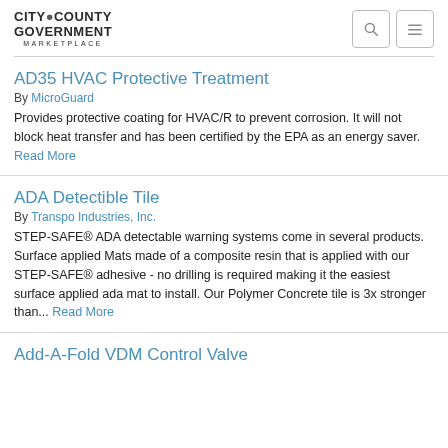CITY•COUNTY GOVERNMENT MARKETPLACE
AD35 HVAC Protective Treatment
By MicroGuard
Provides protective coating for HVAC/R to prevent corrosion. It will not block heat transfer and has been certified by the EPA as an energy saver. Read More
ADA Detectible Tile
By Transpo Industries, Inc.
STEP-SAFE® ADA detectable warning systems come in several products. Surface applied Mats made of a composite resin that is applied with our STEP-SAFE® adhesive - no drilling is required making it the easiest surface applied ada mat to install. Our Polymer Concrete tile is 3x stronger than... Read More
Add-A-Fold VDM Control Valve